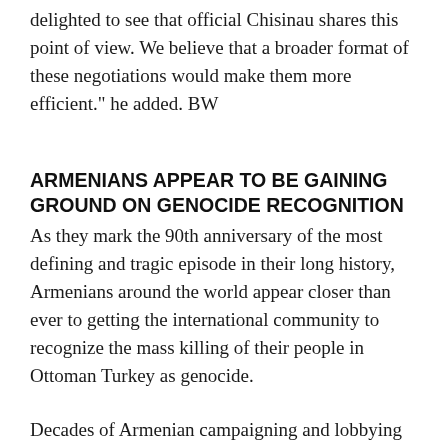delighted to see that official Chisinau shares this point of view. We believe that a broader format of these negotiations would make them more efficient." he added. BW
ARMENIANS APPEAR TO BE GAINING GROUND ON GENOCIDE RECOGNITION
As they mark the 90th anniversary of the most defining and tragic episode in their long history, Armenians around the world appear closer than ever to getting the international community to recognize the mass killing of their people in Ottoman Turkey as genocide.
Decades of Armenian campaigning and lobbying have raised international awareness of the events of 1915 to an unprecedented level, with a growing number of countries describing them as a genocide.